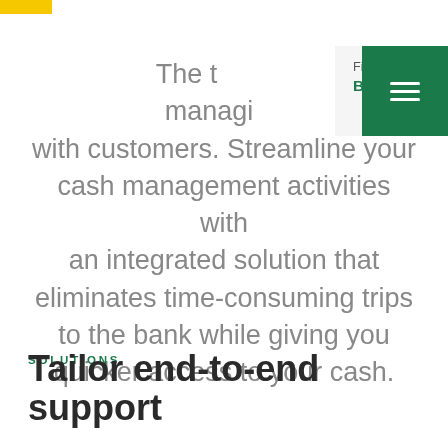[Figure (screenshot): Filter dropdown showing 'Filter for: Banking & Financial' with chevron, overlapping a green hamburger menu button]
The t... managi... with customers. Streamline your cash management activities with an integrated solution that eliminates time-consuming trips to the bank while giving you quicker access to your cash.
SOLUTIONS
Tailor end-to-end support